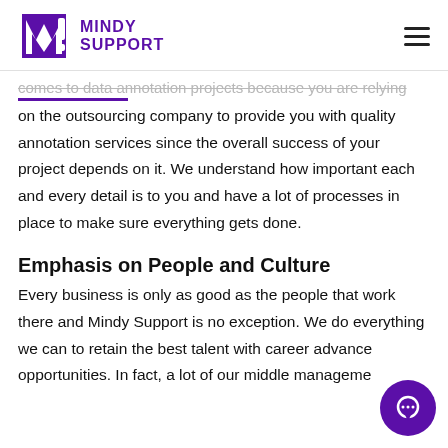MINDY SUPPORT
comes to data annotation projects because you are relying on the outsourcing company to provide you with quality annotation services since the overall success of your project depends on it. We understand how important each and every detail is to you and have a lot of processes in place to make sure everything gets done.
Emphasis on People and Culture
Every business is only as good as the people that work there and Mindy Support is no exception. We do everything we can to retain the best talent with career advancement opportunities. In fact, a lot of our middle management staff started out as annotators and worked there way into